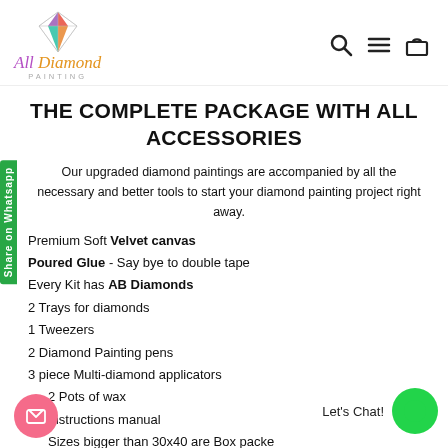[Figure (logo): All Diamond Painting logo with colorful diamond gem icon and stylized text]
THE COMPLETE PACKAGE WITH ALL ACCESSORIES
Our upgraded diamond paintings are accompanied by all the necessary and better tools to start your diamond painting project right away.
Premium Soft Velvet canvas
Poured Glue - Say bye to double tape
Every Kit has AB Diamonds
2 Trays for diamonds
1 Tweezers
2 Diamond Painting pens
3 piece Multi-diamond applicators
2 Pots of wax
Instructions manual
Sizes bigger than 30x40 are Box packed